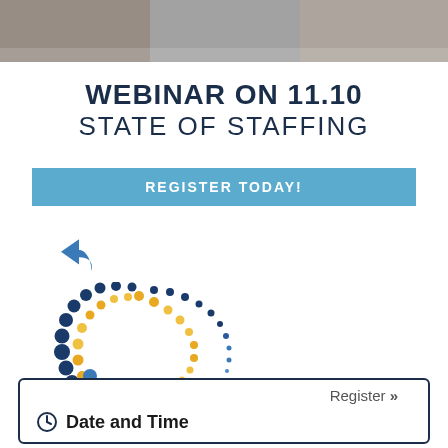[Figure (photo): Photo banner of people at the top of the page]
WEBINAR ON 11.10
STATE OF STAFFING
REGISTER TODAY!
[Figure (illustration): Reply/share arrow icon]
[Figure (logo): Staffing industry logo made of blue and yellow dots forming a C shape]
[Figure (illustration): Share icon (three connected circles)]
Register »
Date and Time